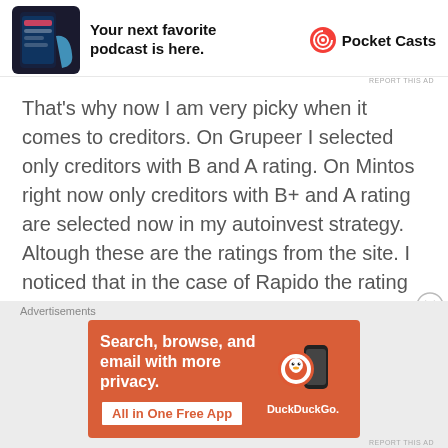[Figure (screenshot): Top advertisement banner for Pocket Casts podcast app showing app screenshot, text 'Your next favorite podcast is here.' and Pocket Casts logo/brand name]
REPORT THIS AD
That's why now I am very picky when it comes to creditors. On Grupeer I selected only creditors with B and A rating. On Mintos right now only creditors with B+ and A rating are selected now in my autoinvest strategy. Altough these are the ratings from the site. I noticed that in the case of Rapido the rating was more reactive then what it actually should have been. So it helps to check out other sources as well. Something I plan to dig into in a next blog.
Advertisements
[Figure (screenshot): Bottom advertisement banner for DuckDuckGo app on orange background. Text: 'Search, browse, and email with more privacy.' with button 'All in One Free App' and DuckDuckGo logo with phone image.]
REPORT THIS AD